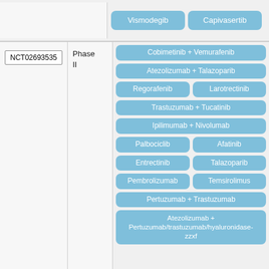| Trial ID | Phase | Drugs |
| --- | --- | --- |
|  |  | Vismodegib | Capivasertib |
| NCT02693535 | Phase II | Cobimetinib + Vemurafenib | Atezolizumab + Talazoparib | Regorafenib | Larotrectinib | Trastuzumab + Tucatinib | Ipilimumab + Nivolumab | Palbociclib | Afatinib | Entrectinib | Talazoparib | Pembrolizumab | Temsirolimus | Pertuzumab + Trastuzumab | Atezolizumab + Pertuzumab/trastuzumab/hyaluronidase-zzxf |